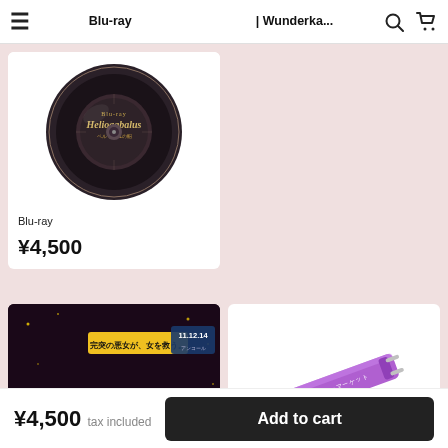Blu-ray　　　　　　　　　　　　| Wunderka...
[Figure (photo): Circular Blu-ray disc with gothic lettering 'Heliogabalus' design on dark background]
Blu-ray
¥4,500
[Figure (photo): Movie/show promotional image featuring female performers on stage, text overlay '完璧の悪女が、女を救う。' and '11.12.14', title 'FEATURING' at bottom]
[Figure (photo): Purple metal keychain/strap with chain attachment, product merchandise item]
¥4,500  tax included
Add to cart